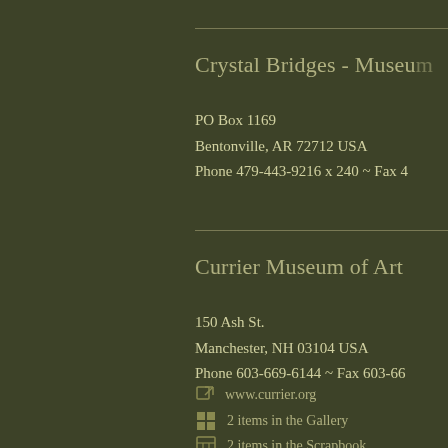Crystal Bridges - Museum
PO Box 1169
Bentonville, AR 72712 USA
Phone 479-443-9216 x 240 ~ Fax 4
Currier Museum of Art
150 Ash St.
Manchester, NH 03104 USA
Phone 603-669-6144 ~ Fax 603-66
www.currier.org
2 items in the Gallery
2 items in the Scrapbook